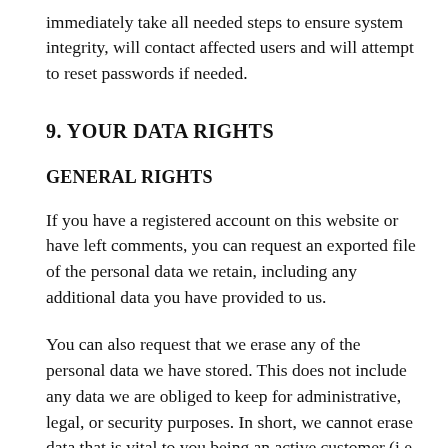immediately take all needed steps to ensure system integrity, will contact affected users and will attempt to reset passwords if needed.
9. YOUR DATA RIGHTS
GENERAL RIGHTS
If you have a registered account on this website or have left comments, you can request an exported file of the personal data we retain, including any additional data you have provided to us.
You can also request that we erase any of the personal data we have stored. This does not include any data we are obliged to keep for administrative, legal, or security purposes. In short, we cannot erase data that is vital to you being an active customer (i.e. basic account information like an email address).